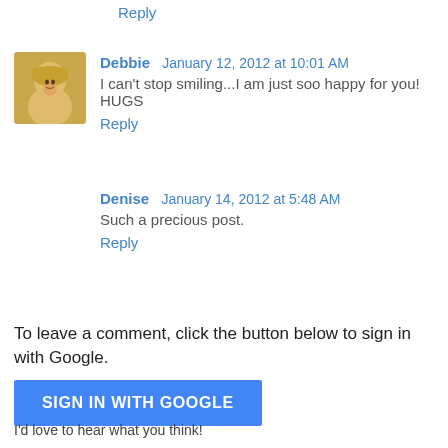Reply
Debbie  January 12, 2012 at 10:01 AM
I can't stop smiling...I am just soo happy for you! HUGS
Reply
Denise  January 14, 2012 at 5:48 AM
Such a precious post.
Reply
To leave a comment, click the button below to sign in with Google.
[Figure (other): Blue 'SIGN IN WITH GOOGLE' button]
I'd love to hear what you think!